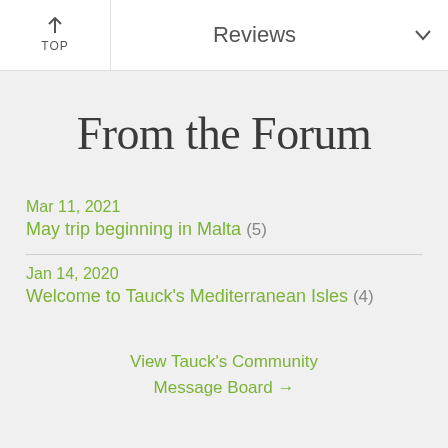TOP | Reviews
From the Forum
Mar 11, 2021
May trip beginning in Malta (5)
Jan 14, 2020
Welcome to Tauck's Mediterranean Isles (4)
View Tauck's Community Message Board →